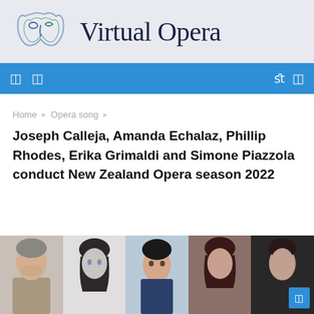[Figure (logo): Virtual Opera website header with opera mask logo and site name 'Virtual Opera' in serif font on a light grey-blue background]
Navigation bar with icons
Home › Opera song ›
Joseph Calleja, Amanda Echalaz, Phillip Rhodes, Erika Grimaldi and Simone Piazzola conduct New Zealand Opera season 2022
[Figure (photo): Strip of five performer headshots/portraits partially visible at the bottom of the page]